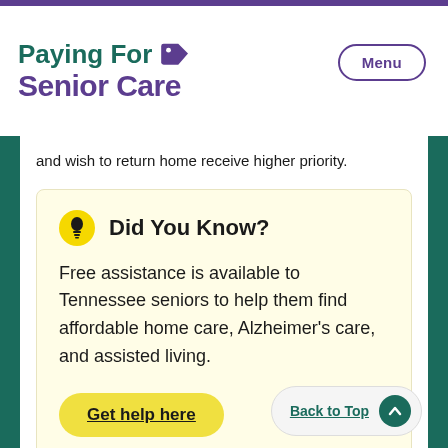Paying For Senior Care
and wish to return home receive higher priority.
Did You Know?
Free assistance is available to Tennessee seniors to help them find affordable home care, Alzheimer's care, and assisted living.
Get help here
Back to Top